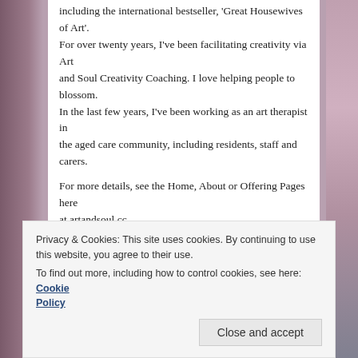including the international bestseller, 'Great Housewives of Art'. For over twenty years, I've been facilitating creativity via Art and Soul Creativity Coaching. I love helping people to blossom.
In the last few years, I've been working as an art therapist in the aged care community, including residents, staff and carers.

For more details, see the Home, About or Offering Pages here at artandsoul.cc
or Sally Swain Art Facebook page for more pictures
or feel free to join Art and Soul newsletter to discover updates on group and individual Creativity Coaching
SALLY'S BLOGGISH ART
[Figure (photo): Two art images side by side showing colorful abstract paintings]
Privacy & Cookies: This site uses cookies. By continuing to use this website, you agree to their use.
To find out more, including how to control cookies, see here: Cookie Policy